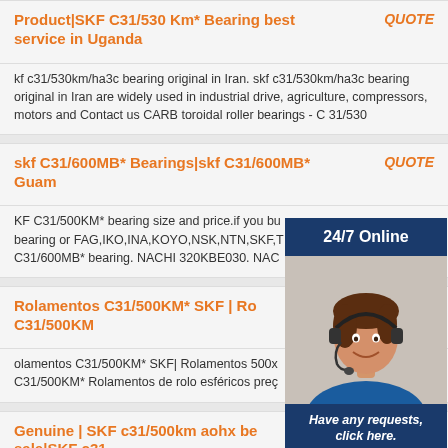Product|SKF C31/530 Km* Bearing best service in Uganda QUOTE
kf c31/530km/ha3c bearing original in Iran. skf c31/530km/ha3c bearing original in Iran are widely used in industrial drive, agriculture, compressors, motors and Contact us CARB toroidal roller bearings - C 31/530
skf C31/600MB* Bearings|skf C31/600MB* Guam QUOTE
KF C31/500KM* bearing size and price.if you bu bearing or FAG,IKO,INA,KOYO,NSK,NTN,SKF,T C31/600MB* bearing. NACHI 320KBE030. NAC
Rolamentos C31/500KM* SKF | Ro QUOTE C31/500KM
olamentos C31/500KM* SKF| Rolamentos 500x C31/500KM* Rolamentos de rolo esféricos preç
Genuine | SKF c31/500km aohx be sale|SKF c31 OTE
KF c31/500km aohx bearing for sale|SKF c31/500km aohx in Czech Republic SKF Passenger bearing 1,7 M km With improved contact
[Figure (infographic): 24/7 Online chat widget with a customer service representative wearing a headset, and a 'Have any requests, click here.' message with a Quotation button]